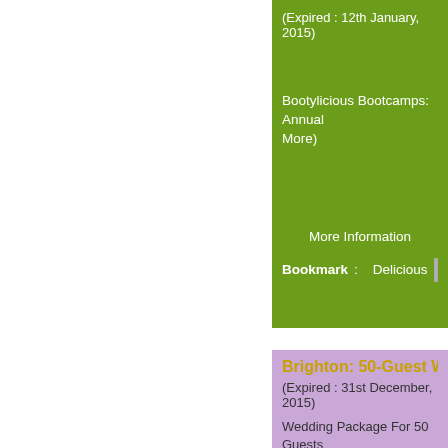(Expired : 12th January, 2015)
Bootylicious Bootcamps: Annual More)
More Information
Bookmark : Delicious
Brighton: 50-Guest W
(Expired : 31st December, 2015)
Wedding Package For 50 Guests Brighton Hotel (DN: 5(he /T...